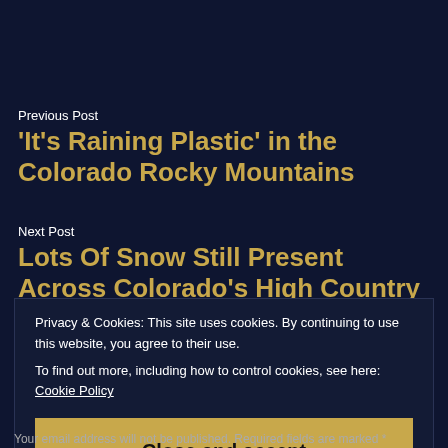Previous Post
‘It’s Raining Plastic’ in the Colorado Rocky Mountains
Next Post
Lots Of Snow Still Present Across Colorado’s High Country — CBS Denver
Privacy & Cookies: This site uses cookies. By continuing to use this website, you agree to their use.
To find out more, including how to control cookies, see here: Cookie Policy
Close and accept
Your email address will not be published. Required fields are marked *